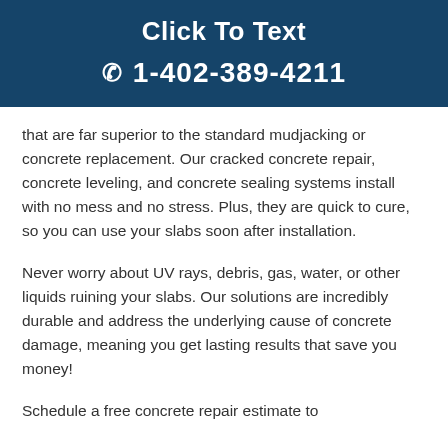Click To Text
☎ 1-402-389-4211
that are far superior to the standard mudjacking or concrete replacement. Our cracked concrete repair, concrete leveling, and concrete sealing systems install with no mess and no stress. Plus, they are quick to cure, so you can use your slabs soon after installation.
Never worry about UV rays, debris, gas, water, or other liquids ruining your slabs. Our solutions are incredibly durable and address the underlying cause of concrete damage, meaning you get lasting results that save you money!
Schedule a free concrete repair estimate to